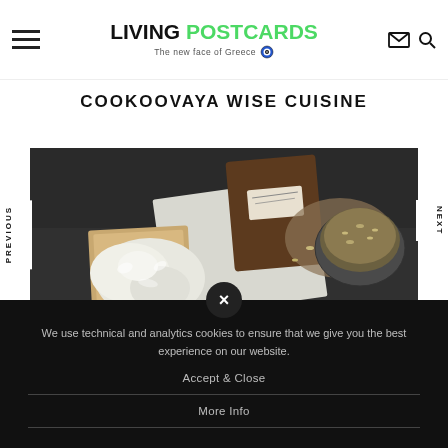LIVING POSTCARDS — The new face of Greece
COOKOOVAYA wise cuisine
[Figure (photo): Overhead shot of food ingredients on dark slate surface: grains/seeds in a wooden bowl, scattered seeds on white paper, wooden cutting board, and a round ceramic plate on dark background]
We use technical and analytics cookies to ensure that we give you the best experience on our website.
Accept & Close
More Info